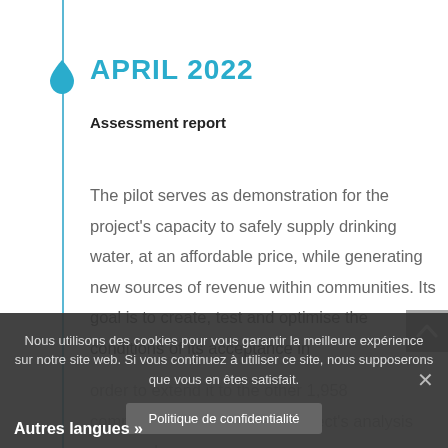APRIL 2022
Assessment report
The pilot serves as demonstration for the project's capacity to safely supply drinking water, at an affordable price, while generating new sources of revenue within communities. Its goal is to create, test and optimise the conditions of its acceptance in order to extend it to the other 1,958 communities by 2034. The project's analysis re...ework
Nous utilisons des cookies pour vous garantir la meilleure expérience sur notre site web. Si vous continuez à utiliser ce site, nous supposerons que vous en êtes satisfait.
Politique de confidentialité
Autres langues »